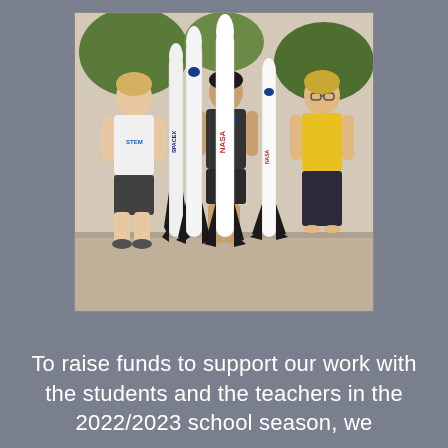[Figure (photo): Three students standing outdoors holding large rocket models (SpaceX and NASA branded white rockets with black fins). The student on the left wears a white t-shirt, the middle student wears a dark gray t-shirt, and the student on the right wears a yellow t-shirt. Multiple tall rocket models stand between them.]
To raise funds to support our work with the students and the teachers in the 2022/2023 school season, we